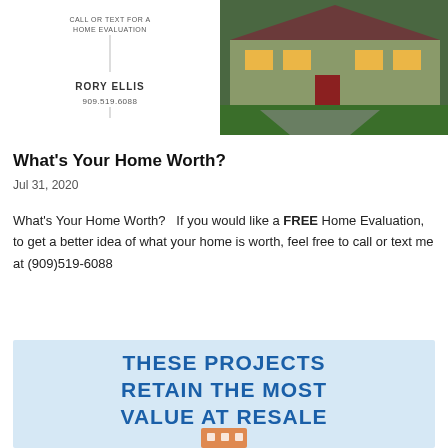[Figure (photo): Real estate promotional image showing a house exterior with green lawn at dusk, with a card inset on the left featuring agent contact info: RORY ELLIS, 909.519.6088, CALL OR TEXT FOR A HOME EVALUATION]
What's Your Home Worth?
Jul 31, 2020
What's Your Home Worth?   If you would like a FREE Home Evaluation, to get a better idea of what your home is worth, feel free to call or text me at (909)519-6088
[Figure (infographic): Infographic with blue text on light blue background reading: THESE PROJECTS RETAIN THE MOST VALUE AT RESALE, with a small illustration at the bottom]